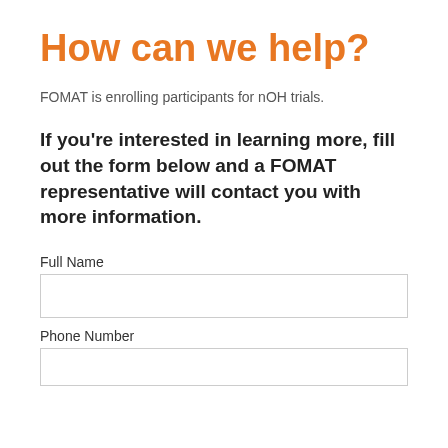How can we help?
FOMAT is enrolling participants for nOH trials.
If you're interested in learning more, fill out the form below and a FOMAT representative will contact you with more information.
Full Name
Phone Number